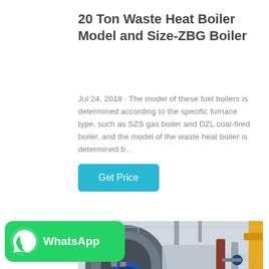20 Ton Waste Heat Boiler Model and Size-ZBG Boiler
Jul 24, 2018 · The model of these fuel boilers is determined according to the specific furnace type, such as SZS gas boiler and DZL coal-fired boiler, and the model of the waste heat boiler is determined b...
Get Price
[Figure (photo): Industrial boiler equipment in a factory setting showing large cylindrical boiler vessels with pipes and blue motor components]
[Figure (logo): WhatsApp logo button with green background and WhatsApp icon and text]